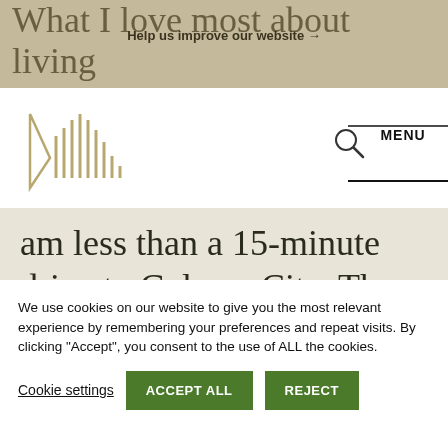What I love most about living and working this region is the
Help us improve our website →
[Figure (logo): Galway County Council logo with stylized waveform/harp graphic in gold/tan color]
MENU
am less than a 15-minute drive to Galway City. There are fantastic facilities on my doorstep, we have access to the city within 15 minutes
We use cookies on our website to give you the most relevant experience by remembering your preferences and repeat visits. By clicking "Accept", you consent to the use of ALL the cookies.
Cookie settings   ACCEPT ALL   REJECT